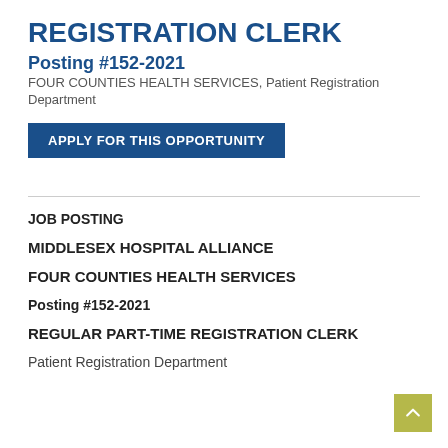REGISTRATION CLERK
Posting #152-2021
FOUR COUNTIES HEALTH SERVICES, Patient Registration Department
APPLY FOR THIS OPPORTUNITY
JOB POSTING
MIDDLESEX HOSPITAL ALLIANCE
FOUR COUNTIES HEALTH SERVICES
Posting #152-2021
REGULAR PART-TIME REGISTRATION CLERK
Patient Registration Department